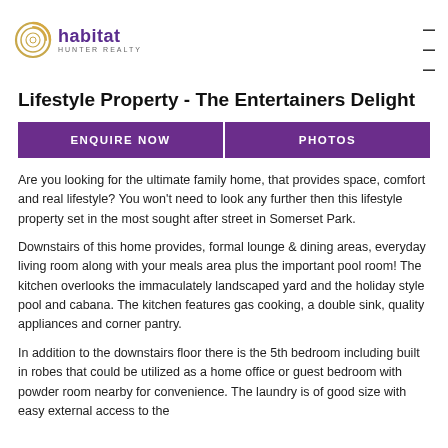habitat hunter realty
Lifestyle Property - The Entertainers Delight
ENQUIRE NOW   PHOTOS
Are you looking for the ultimate family home, that provides space, comfort and real lifestyle? You won't need to look any further then this lifestyle property set in the most sought after street in Somerset Park.
Downstairs of this home provides, formal lounge & dining areas, everyday living room along with your meals area plus the important pool room! The kitchen overlooks the immaculately landscaped yard and the holiday style pool and cabana. The kitchen features gas cooking, a double sink, quality appliances and corner pantry.
In addition to the downstairs floor there is the 5th bedroom including built in robes that could be utilized as a home office or guest bedroom with powder room nearby for convenience. The laundry is of good size with easy external access to the